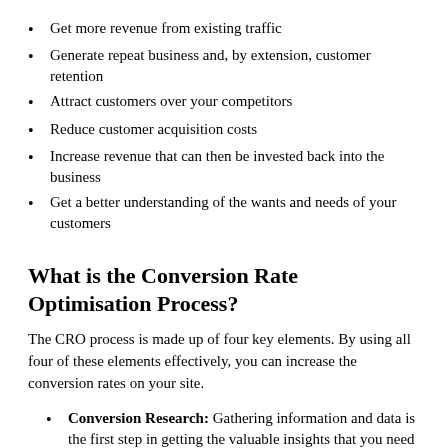Get more revenue from existing traffic
Generate repeat business and, by extension, customer retention
Attract customers over your competitors
Reduce customer acquisition costs
Increase revenue that can then be invested back into the business
Get a better understanding of the wants and needs of your customers
What is the Conversion Rate Optimisation Process?
The CRO process is made up of four key elements. By using all four of these elements effectively, you can increase the conversion rates on your site.
Conversion Research: Gathering information and data is the first step in getting the valuable insights that you need to improve conversions. This can be done using website analytics data, heat maps, surveys, user testing and conversion rate optimisation reviews from experts.